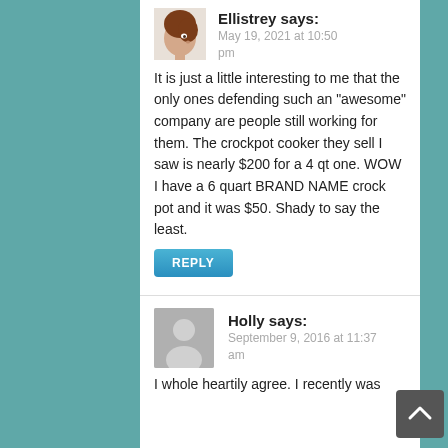[Figure (photo): Avatar image of Ellistrey — 3D rendered female character with brown hair]
Ellistrey says:
May 19, 2021 at 10:50 pm
It is just a little interesting to me that the only ones defending such an “awesome” company are people still working for them. The crockpot cooker they sell I saw is nearly $200 for a 4 qt one. WOW I have a 6 quart BRAND NAME crock pot and it was $50. Shady to say the least.
REPLY
[Figure (illustration): Generic grey silhouette avatar for Holly]
Holly says:
September 9, 2016 at 11:37 am
I whole heartily agree. I recently was